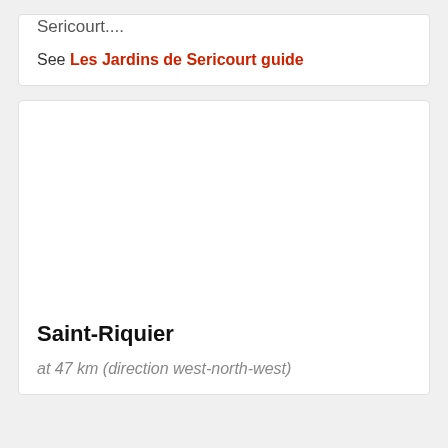Sericourt....
See Les Jardins de Sericourt guide
[Figure (photo): Photo of Saint-Riquier (blank/white area placeholder)]
Saint-Riquier
at 47 km (direction west-north-west)